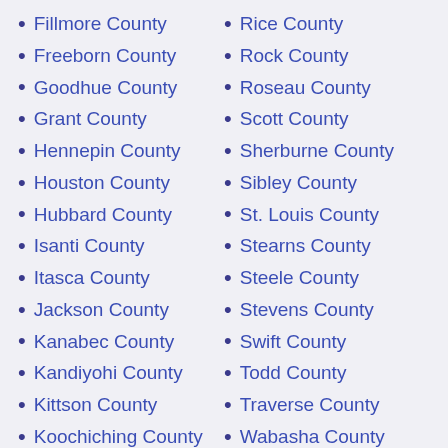Fillmore County
Freeborn County
Goodhue County
Grant County
Hennepin County
Houston County
Hubbard County
Isanti County
Itasca County
Jackson County
Kanabec County
Kandiyohi County
Kittson County
Koochiching County
Lac Qui Parle
Rice County
Rock County
Roseau County
Scott County
Sherburne County
Sibley County
St. Louis County
Stearns County
Steele County
Stevens County
Swift County
Todd County
Traverse County
Wabasha County
Wadena County